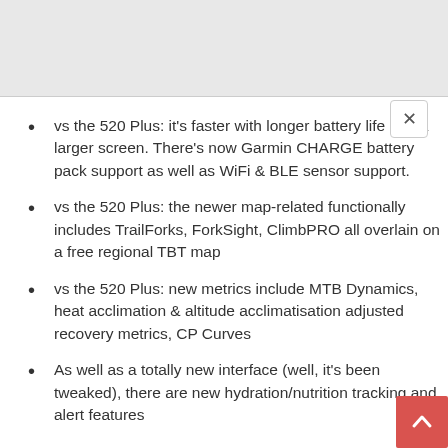vs the 520 Plus: it's faster with longer battery life and a larger screen. There's now Garmin CHARGE battery pack support as well as WiFi & BLE sensor support.
vs the 520 Plus: the newer map-related functionally includes TrailForks, ForkSight, ClimbPRO all overlain on a free regional TBT map
vs the 520 Plus: new metrics include MTB Dynamics, heat acclimation & altitude acclimatisation adjusted recovery metrics, CP Curves
As well as a totally new interface (well, it's been tweaked), there are new hydration/nutrition tracking and alert features